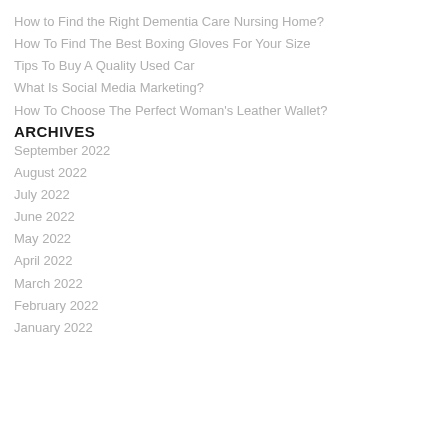How to Find the Right Dementia Care Nursing Home?
How To Find The Best Boxing Gloves For Your Size
Tips To Buy A Quality Used Car
What Is Social Media Marketing?
How To Choose The Perfect Woman's Leather Wallet?
ARCHIVES
September 2022
August 2022
July 2022
June 2022
May 2022
April 2022
March 2022
February 2022
January 2022